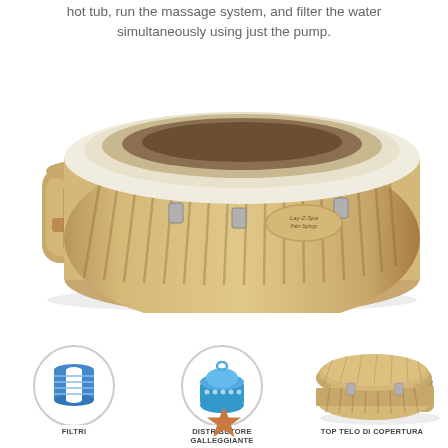hot tub, run the massage system, and filter the water simultaneously using just the pump.
[Figure (photo): Large round inflatable Lay-Z-Spa hot tub in beige/tan color with white inflated rim and external pump unit attached to the side]
[Figure (photo): Filter cartridge in a circle]
FILTRI
[Figure (photo): Floating chemical dispenser in a circle]
DISTRIBUTORE GALLEGGIANTE
[Figure (photo): Lay-Z-Spa with cover top telo di copertura]
TOP TELO DI COPERTURA
[Figure (illustration): A single brown/bronze star icon]